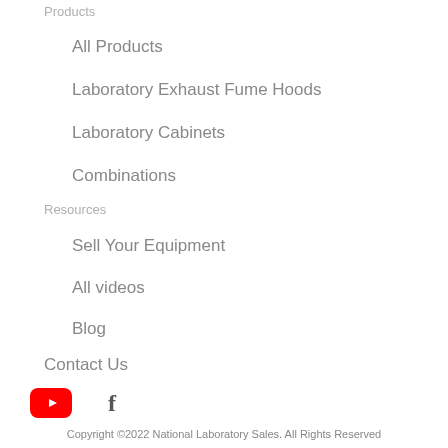Products
All Products
Laboratory Exhaust Fume Hoods
Laboratory Cabinets
Combinations
Resources
Sell Your Equipment
All videos
Blog
Contact Us
[Figure (other): Social media icons: YouTube (red) and Facebook (gray)]
Copyright ©2022 National Laboratory Sales. All Rights Reserved